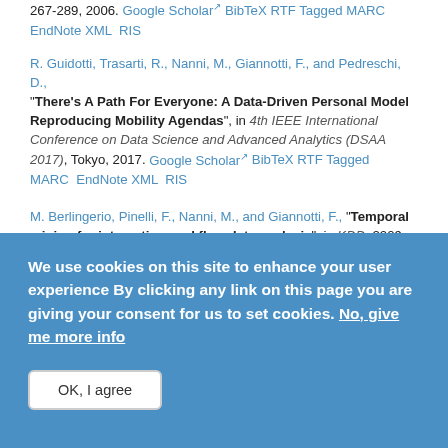267-289, 2006. Google Scholar BibTeX RTF Tagged MARC EndNote XML RIS
R. Guidotti, Trasarti, R., Nanni, M., Giannotti, F., and Pedreschi, D., "There's A Path For Everyone: A Data-Driven Personal Model Reproducing Mobility Agendas", in 4th IEEE International Conference on Data Science and Advanced Analytics (DSAA 2017), Tokyo, 2017. Google Scholar BibTeX RTF Tagged MARC EndNote XML RIS
M. Berlingerio, Pinelli, F., Nanni, M., and Giannotti, F., "Temporal mining for interactive workflow data analysis", in KDD, 2009, pp. 109-118. Google Scholar BibTeX RTF Tagged MARC EndNote XML RIS
We use cookies on this site to enhance your user experience By clicking any link on this page you are giving your consent for us to set cookies. No, give me more info